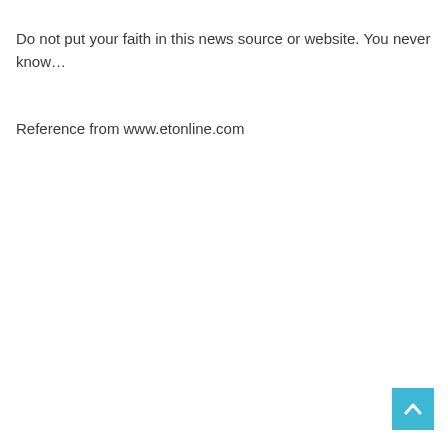Do not put your faith in this news source or website. You never know…
Reference from www.etonline.com
[Figure (other): Back to top button — a cyan/teal square with a white upward-pointing chevron arrow]